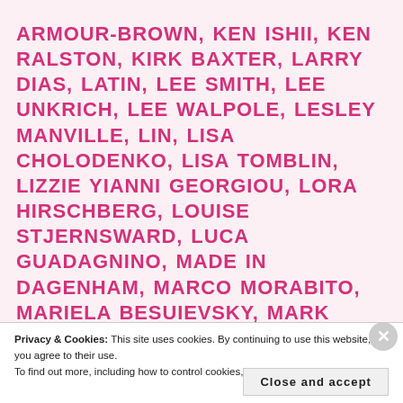ARMOUR-BROWN, KEN ISHII, KEN RALSTON, KIRK BAXTER, LARRY DIAS, LATIN, LEE SMITH, LEE UNKRICH, LEE WALPOLE, LESLEY MANVILLE, LIN, LISA CHOLODENKO, LISA TOMBLIN, LIZZIE YIANNI GEORGIOU, LORA HIRSCHBERG, LOUISE STJERNSWARD, LUCA GUADAGNINO, MADE IN DAGENHAM, MARCO MORABITO, MARIELA BESUIEVSKY, MARK HERBERT, MARK HEYMAN, MARK RUFFALO, MARTIN JENSEN, MARY ZOPHRES, MASSIMILIANO VIOLANTE, MATTER FISHER, MATTHEW LIBATIQUE, MATTHIAS HOEGG, MÄN SOM HATAR
Privacy & Cookies: This site uses cookies. By continuing to use this website, you agree to their use. To find out more, including how to control cookies, see here: Cookie Policy
Close and accept